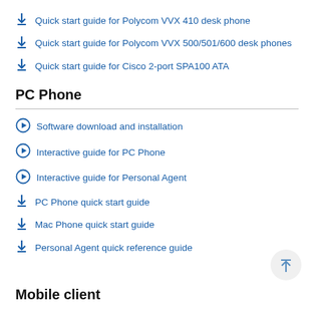Quick start guide for Polycom VVX 410 desk phone
Quick start guide for Polycom VVX 500/501/600 desk phones
Quick start guide for Cisco 2-port SPA100 ATA
PC Phone
Software download and installation
Interactive guide for PC Phone
Interactive guide for Personal Agent
PC Phone quick start guide
Mac Phone quick start guide
Personal Agent quick reference guide
Mobile client